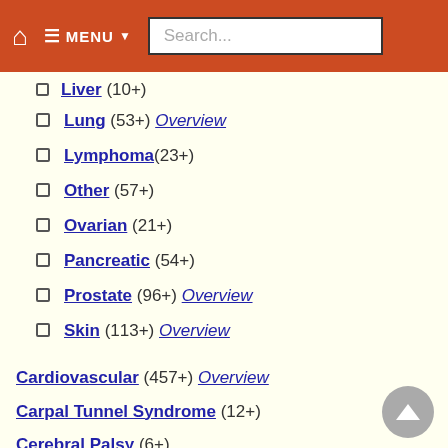MENU Search...
Liver (10+)
Lung (53+) Overview
Lymphoma (23+)
Other (57+)
Ovarian (21+)
Pancreatic (54+)
Prostate (96+) Overview
Skin (113+) Overview
Cardiovascular (457+) Overview
Carpal Tunnel Syndrome (12+)
Cerebral Palsy (6+)
Cholesterol (50+) Overview Cholesterol and vitamin D
Chronic Fatigue Overview